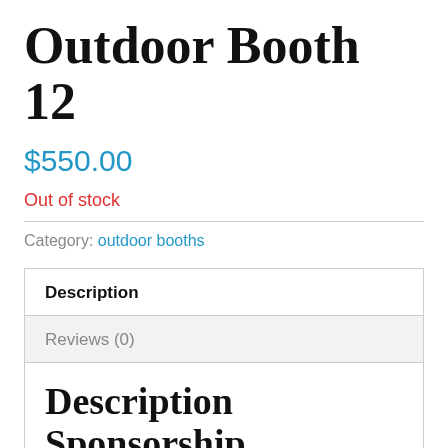Outdoor Booth 12
$550.00
Out of stock
Category: outdoor booths
| Description |
| --- |
| Reviews (0) |
Description Sponsorship